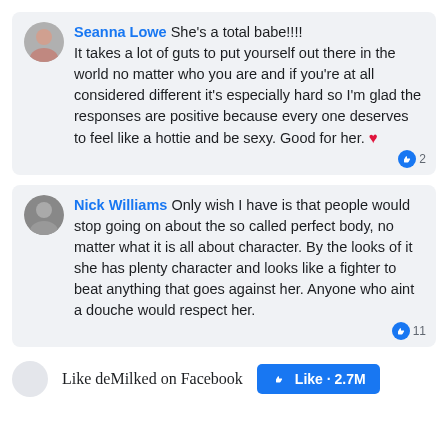Seanna Lowe She's a total babe!!!! It takes a lot of guts to put yourself out there in the world no matter who you are and if you're at all considered different it's especially hard so I'm glad the responses are positive because every one deserves to feel like a hottie and be sexy. Good for her. ❤ [2 likes]
Nick Williams Only wish I have is that people would stop going on about the so called perfect body, no matter what it is all about character. By the looks of it she has plenty character and looks like a fighter to beat anything that goes against her. Anyone who aint a douche would respect her. [11 likes]
Like deMilked on Facebook  Like 2.7M